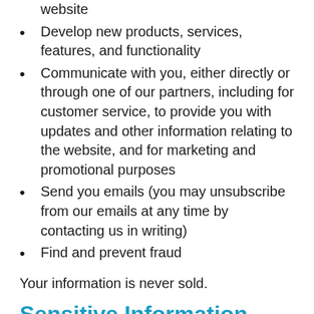website
Develop new products, services, features, and functionality
Communicate with you, either directly or through one of our partners, including for customer service, to provide you with updates and other information relating to the website, and for marketing and promotional purposes
Send you emails (you may unsubscribe from our emails at any time by contacting us in writing)
Find and prevent fraud
Your information is never sold.
Sensitive Information
Sensitive information is defined by the Pri...